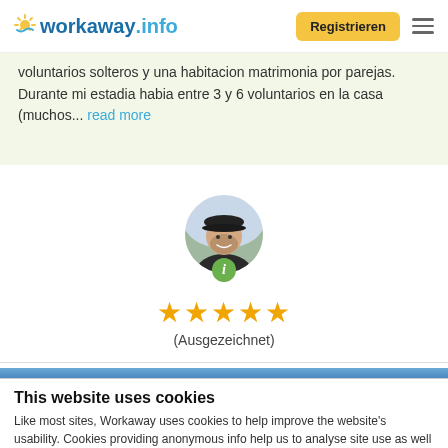[Figure (logo): Workaway.info logo with sun icon]
Registrieren
voluntarios solteros y una habitacion matrimonia por parejas. Durante mi estadia habia entre 3 y 6 voluntarios en la casa (muchos... read more
[Figure (photo): Circular avatar photo of a man wearing a cap, with a green info badge]
★★★★★ (Ausgezeichnet)
This website uses cookies
Like most sites, Workaway uses cookies to help improve the website's usability. Cookies providing anonymous info help us to analyse site use as well as improve content and present social media features.  You consent to our cookies if you continue to use our website.
OK
Settings